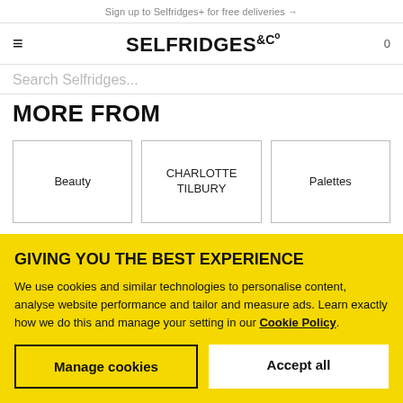Sign up to Selfridges+ for free deliveries →
[Figure (logo): Selfridges & Co logo with hamburger menu icon on the left and cart icon (0) on the right]
Search Selfridges...
MORE FROM
Beauty
CHARLOTTE TILBURY
Palettes
GIVING YOU THE BEST EXPERIENCE
We use cookies and similar technologies to personalise content, analyse website performance and tailor and measure ads. Learn exactly how we do this and manage your setting in our Cookie Policy.
Manage cookies
Accept all